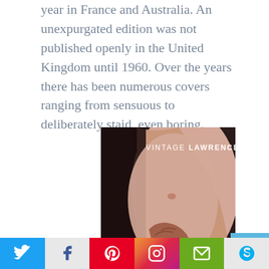year in France and Australia. An unexpurgated edition was not published openly in the United Kingdom until 1960. Over the years there has been numerous covers ranging from sensuous to deliberately staid, even boring.
[Figure (photo): Book cover of 'Lady Chatterley's Lover' from the Vintage Lawrence series, showing a close-up of a human torso with text overlay reading 'VINTAGE LAWRENCE' at top and 'Lady Chatterley's Lover' at bottom right.]
See all the